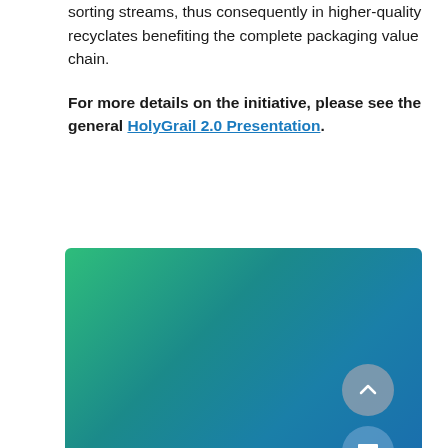sorting streams, thus consequently in higher-quality recyclates benefiting the complete packaging value chain.

For more details on the initiative, please see the general HolyGrail 2.0 Presentation.
[Figure (illustration): Green to teal gradient background panel with two circular UI buttons (up arrow and chat/message icon) on the right side.]